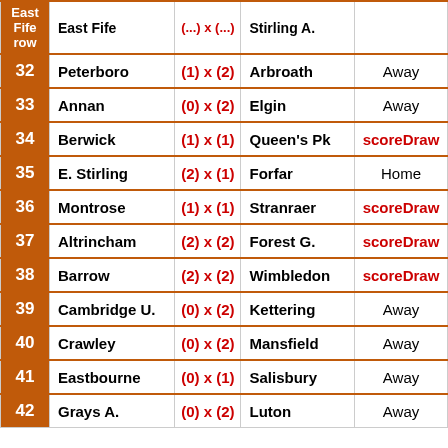| # | Home | Score | Away | Result |
| --- | --- | --- | --- | --- |
|  | East Fife | (...) x (...) | Stirling A. |  |
| 32 | Peterboro | (1) x (2) | Arbroath | Away |
| 33 | Annan | (0) x (2) | Elgin | Away |
| 34 | Berwick | (1) x (1) | Queen's Pk | scoreDraw |
| 35 | E. Stirling | (2) x (1) | Forfar | Home |
| 36 | Montrose | (1) x (1) | Stranraer | scoreDraw |
| 37 | Altrincham | (2) x (2) | Forest G. | scoreDraw |
| 38 | Barrow | (2) x (2) | Wimbledon | scoreDraw |
| 39 | Cambridge U. | (0) x (2) | Kettering | Away |
| 40 | Crawley | (0) x (2) | Mansfield | Away |
| 41 | Eastbourne | (0) x (1) | Salisbury | Away |
| 42 | Grays A. | (0) x (2) | Luton | Away |